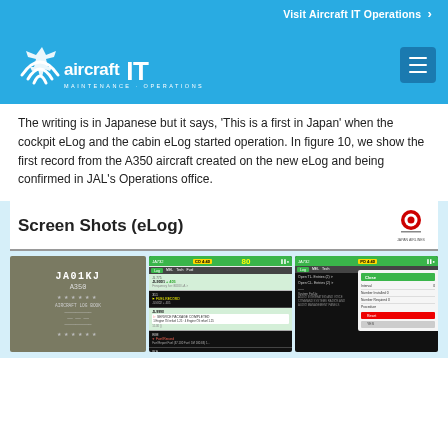Visit Aircraft IT Operations
[Figure (logo): Aircraft IT Maintenance - Operations logo in white on light blue background]
The writing is in Japanese but it says, 'This is a first in Japan' when the cockpit eLog and the cabin eLog started operation. In figure 10, we show the first record from the A350 aircraft created on the new eLog and being confirmed in JAL's Operations office.
[Figure (screenshot): Screen Shots (eLog) section header with JAL logo, followed by three screenshots showing a physical aircraft logbook (JA01KJ A350), and two tablet screens showing eLog interface with flight records and a Close dialog panel.]